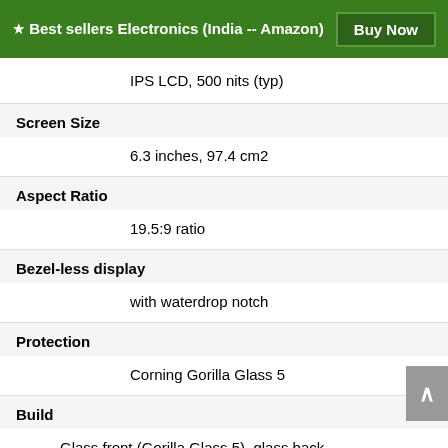★ Best sellers Electronics (India -- Amazon) | Buy Now
| Specification | Value |
| --- | --- |
|  | IPS LCD, 500 nits (typ) |
| Screen Size | 6.3 inches, 97.4 cm2 |
| Aspect Ratio | 19.5:9 ratio |
| Bezel-less display | with waterdrop notch |
| Protection | Corning Gorilla Glass 5 |
| Build | Glass front (Gorilla Glass 5), glass back |